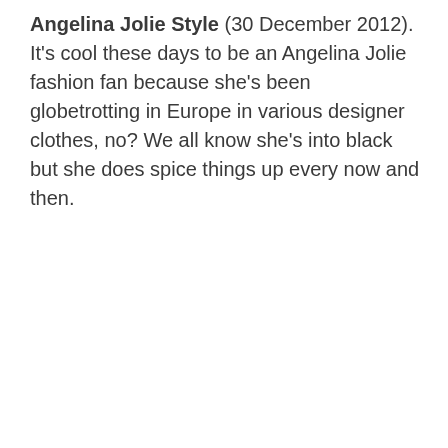Angelina Jolie Style (30 December 2012). It's cool these days to be an Angelina Jolie fashion fan because she's been globetrotting in Europe in various designer clothes, no? We all know she's into black but she does spice things up every now and then.